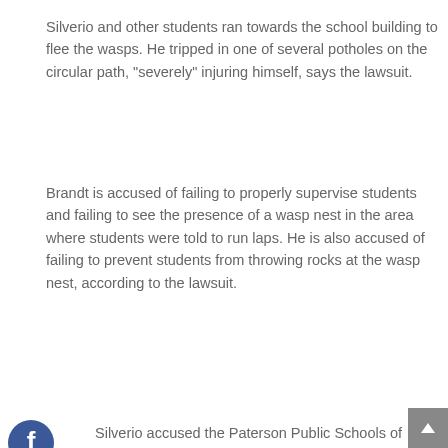Silverio and other students ran towards the school building to flee the wasps. He tripped in one of several potholes on the circular path, "severely" injuring himself, says the lawsuit.
Brandt is accused of failing to properly supervise students and failing to see the presence of a wasp nest in the area where students were told to run laps. He is also accused of failing to prevent students from throwing rocks at the wasp nest, according to the lawsuit.
Silverio accused the Paterson Public Schools of negligence. The lawsuit also accused the city of Paterson of failing to properly maintain the public park.
[Figure (other): Facebook social share icon (blue circle with white 'f' logo)]
[Figure (other): Twitter social share icon (blue circle with white bird logo)]